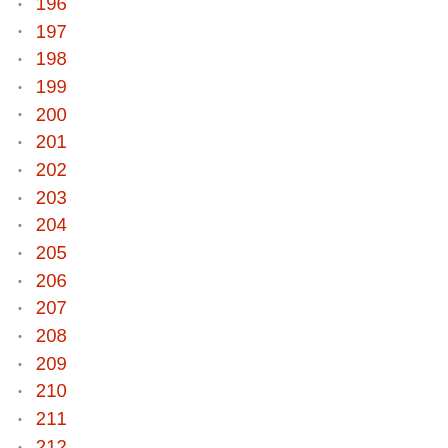196
197
198
199
200
201
202
203
204
205
206
207
208
209
210
211
212
213
214
215
216
217
218